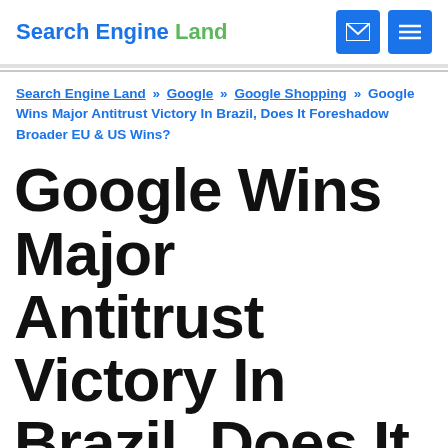Search Engine Land
Search Engine Land » Google » Google Shopping » Google Wins Major Antitrust Victory In Brazil, Does It Foreshadow Broader EU & US Wins?
Google Wins Major Antitrust Victory In Brazil, Does It Foreshadow Broader EU & US Wins?